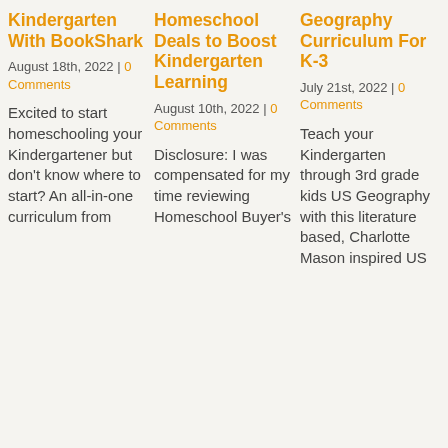Kindergarten With BookShark
August 18th, 2022 | 0 Comments
Excited to start homeschooling your Kindergartener but don't know where to start? An all-in-one curriculum from
Homeschool Deals to Boost Kindergarten Learning
August 10th, 2022 | 0 Comments
Disclosure: I was compensated for my time reviewing Homeschool Buyer's
Geography Curriculum For K-3
July 21st, 2022 | 0 Comments
Teach your Kindergarten through 3rd grade kids US Geography with this literature based, Charlotte Mason inspired US